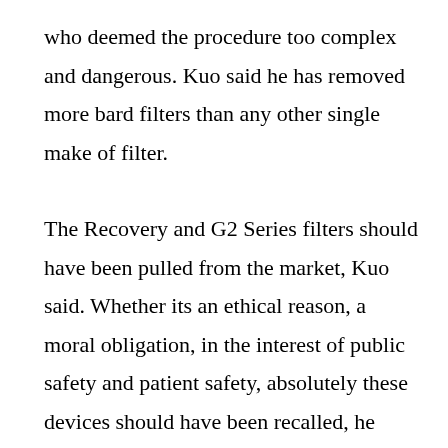who deemed the procedure too complex and dangerous. Kuo said he has removed more bard filters than any other single make of filter.
The Recovery and G2 Series filters should have been pulled from the market, Kuo said. Whether its an ethical reason, a moral obligation, in the interest of public safety and patient safety, absolutely these devices should have been recalled, he said.